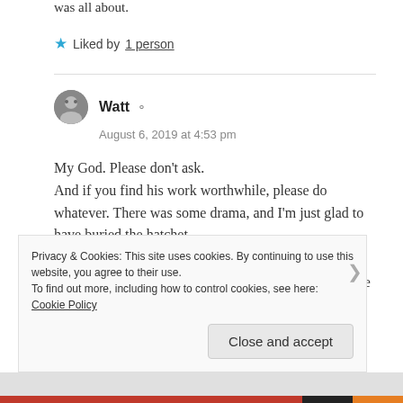was all about.
★ Liked by 1 person
Watt
August 6, 2019 at 4:53 pm
My God. Please don't ask.
And if you find his work worthwhile, please do whatever. There was some drama, and I'm just glad to have buried the hatchet.
Also, welcome back! Really missed you a lot and hope
Privacy & Cookies: This site uses cookies. By continuing to use this website, you agree to their use.
To find out more, including how to control cookies, see here: Cookie Policy
Close and accept